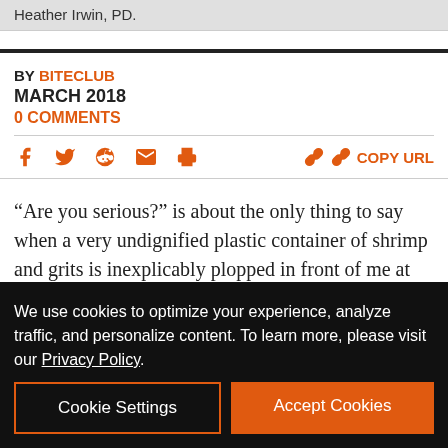Heather Irwin, PD.
BY BITECLUB
MARCH 2018
0 COMMENTS
[Figure (infographic): Social sharing icons: Facebook, Twitter, Reddit, Email, Print, and COPY URL button in orange]
“Are you serious?” is about the only thing to say when a very undignified plastic container of shrimp and grits is inexplicably plopped in front of me at Healdsburg’s newest
We use cookies to optimize your experience, analyze traffic, and personalize content. To learn more, please visit our Privacy Policy.
Cookie Settings  Accept Cookies